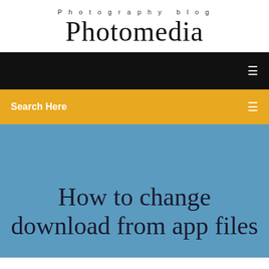Photography blog
Photomedia
[Figure (screenshot): Black navigation bar with a small white icon on the right side]
Search Here
How to change download from app files